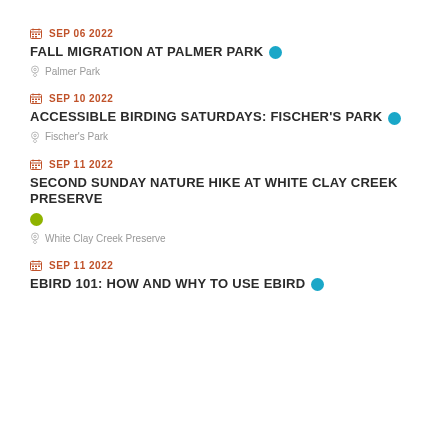SEP 06 2022 — FALL MIGRATION AT PALMER PARK — Palmer Park
SEP 10 2022 — ACCESSIBLE BIRDING SATURDAYS: FISCHER'S PARK — Fischer's Park
SEP 11 2022 — SECOND SUNDAY NATURE HIKE AT WHITE CLAY CREEK PRESERVE — White Clay Creek Preserve
SEP 11 2022 — EBIRD 101: HOW AND WHY TO USE EBIRD